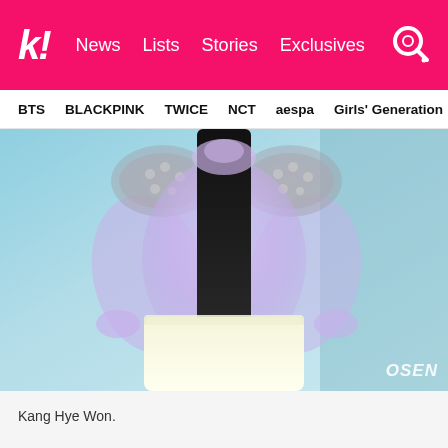k! News Lists Stories Exclusives
BTS  BLACKPINK  TWICE  NCT  aespa  Girls' Generation
[Figure (photo): Kang Hye Won wearing a purple sheer blouse with embellished shoulders and a cream/yellow high-waist skirt, photographed at an event. OSEN watermark visible in the bottom right corner.]
Kang Hye Won.